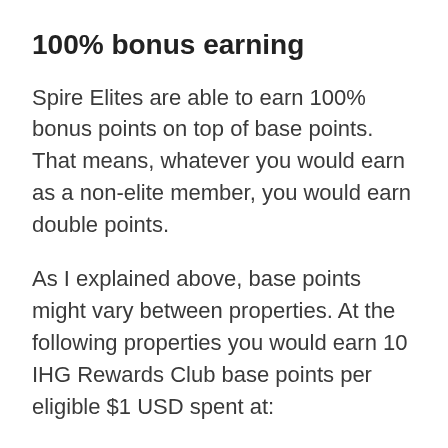100% bonus earning
Spire Elites are able to earn 100% bonus points on top of base points. That means, whatever you would earn as a non-elite member, you would earn double points.
As I explained above, base points might vary between properties. At the following properties you would earn 10 IHG Rewards Club base points per eligible $1 USD spent at:
InterContinental Hotels & Resorts
Kimpton Hotels
HUALUXE Hotels & Resorts